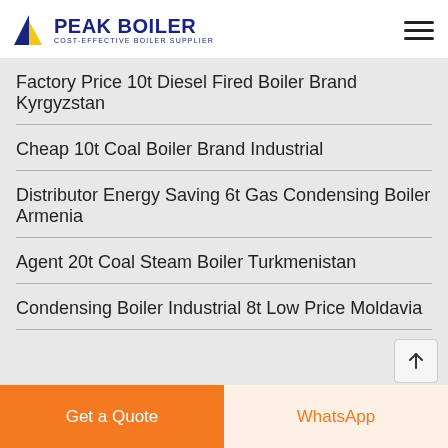PEAK BOILER - COST-EFFECTIVE BOILER SUPPLIER
Factory Price 10t Diesel Fired Boiler Brand Kyrgyzstan
Cheap 10t Coal Boiler Brand Industrial
Distributor Energy Saving 6t Gas Condensing Boiler Armenia
Agent 20t Coal Steam Boiler Turkmenistan
Condensing Boiler Industrial 8t Low Price Moldavia